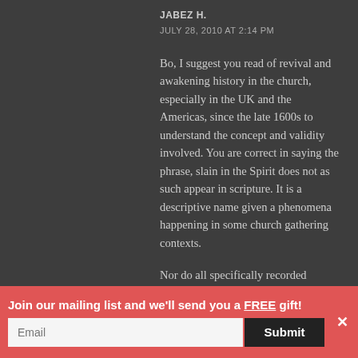JABEZ H.
JULY 28, 2010 AT 2:14 PM
Bo, I suggest you read of revival and awakening history in the church, especially in the UK and the Americas, since the late 1600s to understand the concept and validity involved. You are correct in saying the phrase, slain in the Spirit does not as such appear in scripture. It is a descriptive name given a phenomena happening in some church gathering contexts.

Nor do all specifically recorded references of what may be called signs
Join our mailing list and we'll send you a FREE gift!